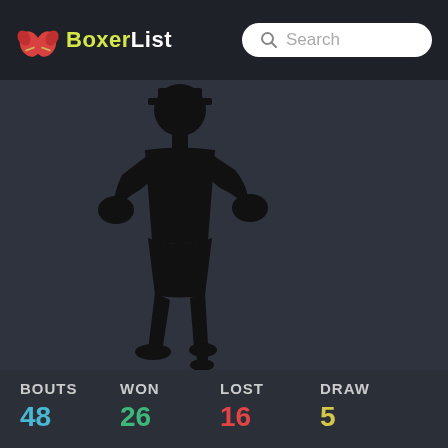BoxerList
[Figure (illustration): Silhouette of a boxer in a fighting stance, shown in black against a dark background]
| BOUTS | WON | LOST | DRAW |
| --- | --- | --- | --- |
| 48 | 26 | 16 | 5 |